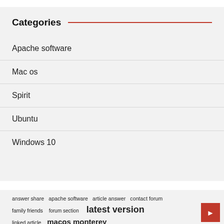Categories
Apache software
Mac os
Spirit
Ubuntu
Windows 10
answer share  apache software  article answer  contact forum  family friends  forum section  latest version  linked article  macos monterey  operating systems